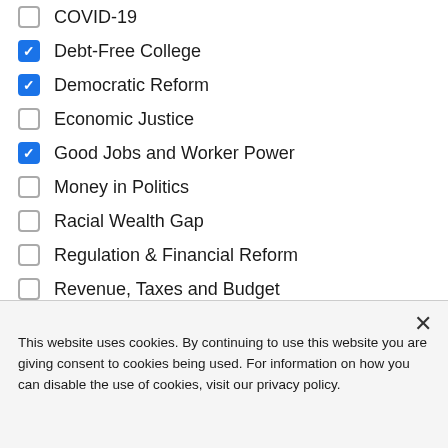COVID-19
Debt-Free College
Democratic Reform
Economic Justice
Good Jobs and Worker Power
Money in Politics
Racial Wealth Gap
Regulation & Financial Reform
Revenue, Taxes and Budget
This website uses cookies. By continuing to use this website you are giving consent to cookies being used. For information on how you can disable the use of cookies, visit our privacy policy.